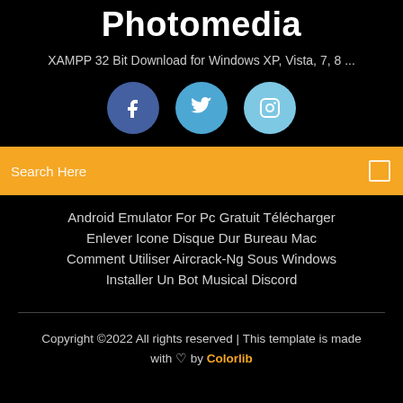Photomedia
XAMPP 32 Bit Download for Windows XP, Vista, 7, 8 ...
[Figure (other): Three social media icons: Facebook (dark blue circle), Twitter (medium blue circle), Instagram (light blue circle)]
Search Here
Android Emulator For Pc Gratuit Télécharger
Enlever Icone Disque Dur Bureau Mac
Comment Utiliser Aircrack-Ng Sous Windows
Installer Un Bot Musical Discord
Copyright ©2022 All rights reserved | This template is made with ♡ by Colorlib